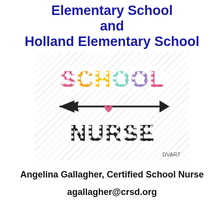Elementary School and Holland Elementary School
[Figure (illustration): Colorful school nurse logo with 'SCHOOL' in multi-colored dotted letters, an arrow pointing right with a pink heart, and 'NURSE' in large black dotted letters, on a diagonal striped background.]
Angelina Gallagher, Certified School Nurse
agallagher@crsd.org